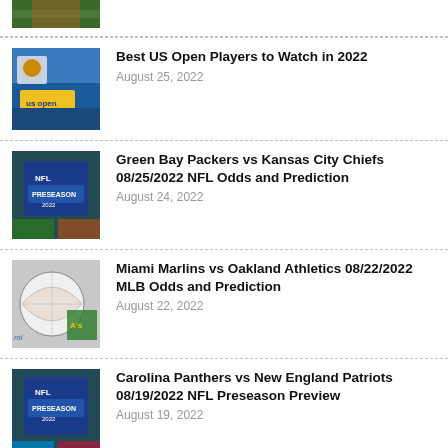[Figure (photo): Partial thumbnail of sports image at top of page]
Best US Open Players to Watch in 2022
August 25, 2022
Green Bay Packers vs Kansas City Chiefs 08/25/2022 NFL Odds and Prediction
August 24, 2022
Miami Marlins vs Oakland Athletics 08/22/2022 MLB Odds and Prediction
August 22, 2022
Carolina Panthers vs New England Patriots 08/19/2022 NFL Preseason Preview
August 19, 2022
Betting Odds for First NFL Coach to Be...